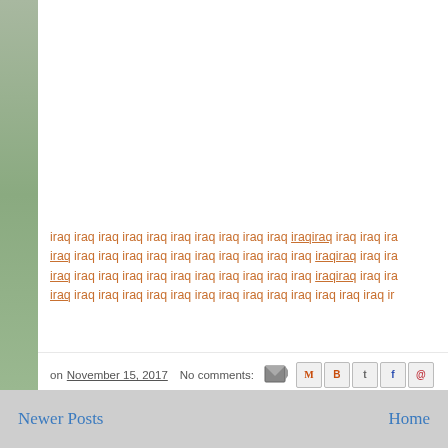[Figure (photo): Left side partial landscape/nature photo strip, mostly cropped out]
iraq iraq iraq iraq iraq iraq iraq iraq iraq iraq iraqiraq iraq iraq iraq iraq iraq iraq iraq iraq iraq iraq iraq iraqiraq iraq iraq iraq iraq iraq iraq iraq iraq iraq iraq iraq iraqiraq iraq iraq iraq iraq iraq iraq iraq iraq iraq iraq iraq iraq iraq iraq iraq iraq iraq iraq iraq iraq iraq iraq iraq ir
on November 15, 2017   No comments:
Newer Posts   Home